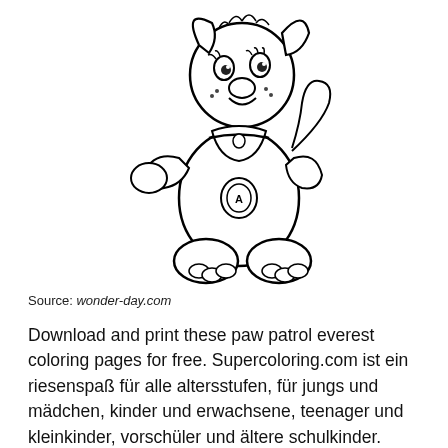[Figure (illustration): Black and white coloring page illustration of Everest from Paw Patrol — a cartoon puppy character sitting, wearing a uniform with a badge/tag, shown in outline style ready for coloring.]
Source: wonder-day.com
Download and print these paw patrol everest coloring pages for free. Supercoloring.com ist ein riesenspaß für alle altersstufen, für jungs und mädchen, kinder und erwachsene, teenager und kleinkinder, vorschüler und ältere schulkinder.